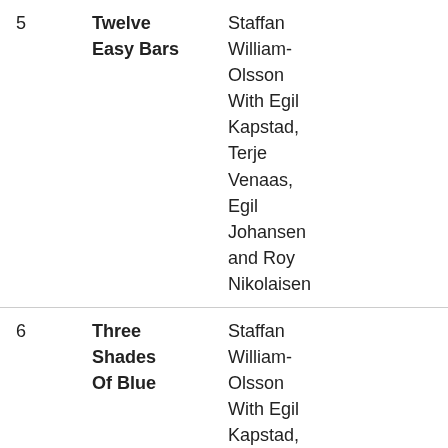| # | Title | Artists | Duration |
| --- | --- | --- | --- |
| 5 | Twelve Easy Bars | Staffan William-Olsson With Egil Kapstad, Terje Venaas, Egil Johansen and Roy Nikolaisen | 6:23 |
| 6 | Three Shades Of Blue | Staffan William-Olsson With Egil Kapstad, Terje Venaas, Egil | 6:06 |